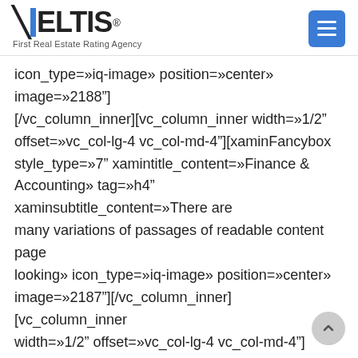[Figure (logo): VELTIS logo with blue vertical bar and text 'First Real Estate Rating Agency']
icon_type=»iq-image» position=»center» image=»2188"][/vc_column_inner][vc_column_inner width=»1/2" offset=»vc_col-lg-4 vc_col-md-4"][xaminFancybox style_type=»7" xamintitle_content=»Finance & Accounting» tag=»h4" xaminsubtitle_content=»There are many variations of passages of readable content page looking» icon_type=»iq-image» position=»center» image=»2187"][/vc_column_inner][vc_column_inner width=»1/2" offset=»vc_col-lg-4 vc_col-md-4"] [xaminFancybox style_type=»7" xamintitle_content=»Operations Management» tag=»h4" xaminsubtitle_content=»There are many variations of